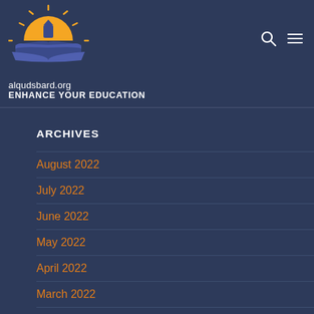[Figure (logo): Al-Quds Bard logo: sun rising over an open book with columns, in orange and blue/purple colors]
alqudsbard.org
ENHANCE YOUR EDUCATION
ARCHIVES
August 2022
July 2022
June 2022
May 2022
April 2022
March 2022
February 2022
January 2022